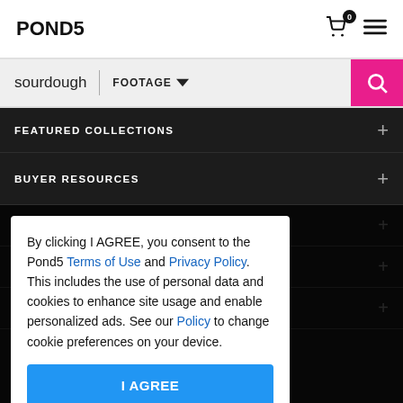POND5
sourdough | FOOTAGE
FEATURED COLLECTIONS +
BUYER RESOURCES +
CONTRIBUTOR RESOURCES +
COMMUNITY +
SERVICES & TOOLS +
By clicking I AGREE, you consent to the Pond5 Terms of Use and Privacy Policy. This includes the use of personal data and cookies to enhance site usage and enable personalized ads. See our Policy to change cookie preferences on your device.
I AGREE
Excellent ★★★★★